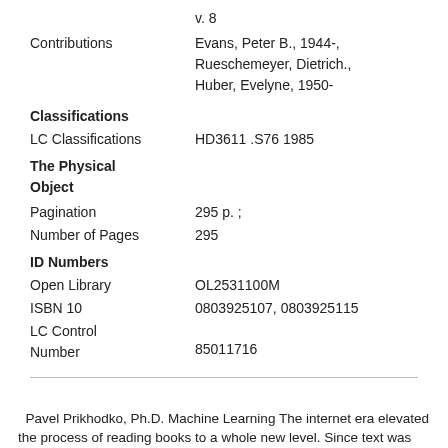v. 8
Contributions
Evans, Peter B., 1944-, Rueschemeyer, Dietrich., Huber, Evelyne, 1950-
Classifications
LC Classifications
HD3611 .S76 1985
The Physical Object
Pagination
295 p. ;
Number of Pages
295
ID Numbers
Open Library
OL2531100M
ISBN 10
0803925107, 0803925115
LC Control Number
85011716
Pavel Prikhodko, Ph.D. Machine Learning The internet era elevated the process of reading books to a whole new level. Since text was